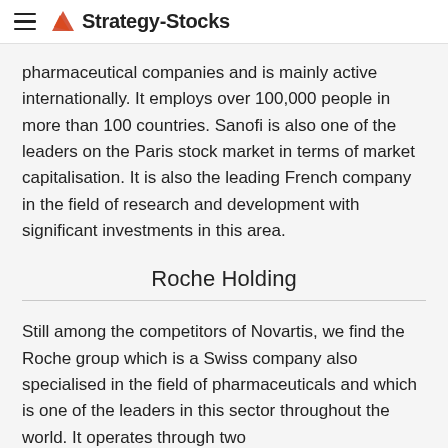Strategy-Stocks
pharmaceutical companies and is mainly active internationally. It employs over 100,000 people in more than 100 countries. Sanofi is also one of the leaders on the Paris stock market in terms of market capitalisation. It is also the leading French company in the field of research and development with significant investments in this area.
Roche Holding
Still among the competitors of Novartis, we find the Roche group which is a Swiss company also specialised in the field of pharmaceuticals and which is one of the leaders in this sector throughout the world. It operates through two